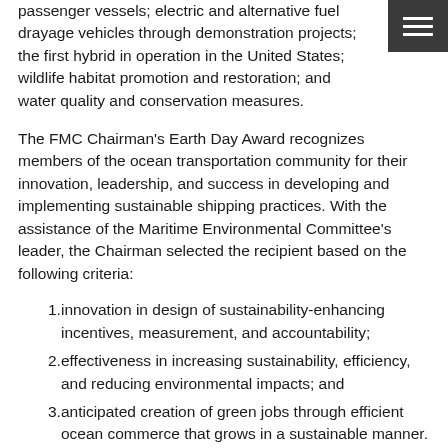passenger vessels; electric and alternative fuel drayage vehicles through demonstration projects; the first hybrid in operation in the United States; wildlife habitat promotion and restoration; and water quality and conservation measures.
The FMC Chairman's Earth Day Award recognizes members of the ocean transportation community for their innovation, leadership, and success in developing and implementing sustainable shipping practices. With the assistance of the Maritime Environmental Committee's leader, the Chairman selected the recipient based on the following criteria:
innovation in design of sustainability-enhancing incentives, measurement, and accountability;
effectiveness in increasing sustainability, efficiency, and reducing environmental impacts; and
anticipated creation of green jobs through efficient ocean commerce that grows in a sustainable manner.